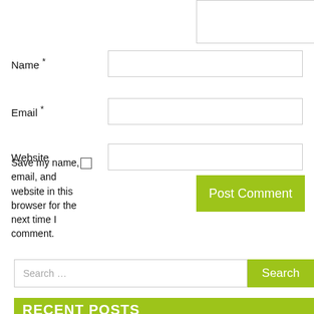Name *
Email *
Website
Save my name, email, and website in this browser for the next time I comment.
Post Comment
Search ...
RECENT POSTS
Make the Best Uses of Net Fabric fo...
FRANCHISE ENQUIRY